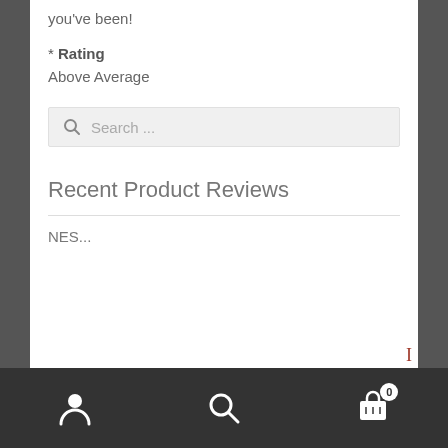you've been!
* Rating
Above Average
[Figure (screenshot): Search input box with magnifying glass icon and placeholder text 'Search ...']
Recent Product Reviews
NES...
Navigation bar with user icon, search icon, and cart icon with badge 0